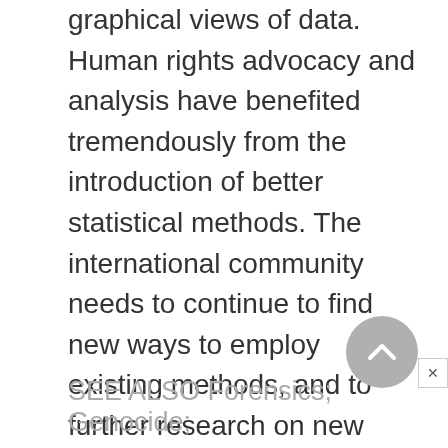graphical views of data. Human rights advocacy and analysis have benefited tremendously from the introduction of better statistical methods. The international community needs to continue to find new ways to employ existing methods, and to further research on new methods, so that human rights reporting becomes more rigorous. Statistics help establish the evidentiary basis of human rights allegations about crimes of policy.
SEE ALSO Forensics; Genocide;